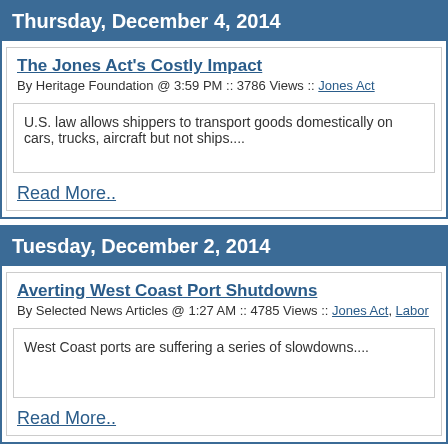Thursday, December 4, 2014
The Jones Act's Costly Impact
By Heritage Foundation @ 3:59 PM :: 3786 Views :: Jones Act
U.S. law allows shippers to transport goods domestically on cars, trucks, aircraft but not ships....
Read More..
Tuesday, December 2, 2014
Averting West Coast Port Shutdowns
By Selected News Articles @ 1:27 AM :: 4785 Views :: Jones Act, Labor
West Coast ports are suffering a series of slowdowns....
Read More..
Tuesday, November 25, 2014
Matson Hikes Rates 5.4%
By News Release @ 4:11 PM :: 4549 Views :: Jones Act